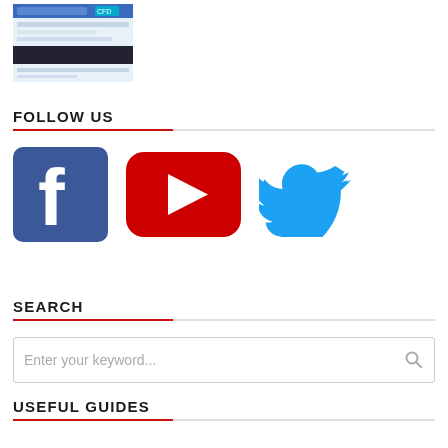[Figure (screenshot): Thumbnail screenshot of a webpage with blue header and content]
FOLLOW US
[Figure (logo): Social media icons: Facebook (blue square with white f), YouTube (red rounded rectangle with white play button), Twitter (blue bird)]
SEARCH
Enter your keyword...
USEFUL GUIDES